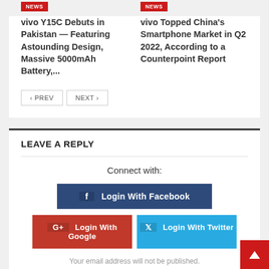NEWS
vivo Y15C Debuts in Pakistan — Featuring Astounding Design, Massive 5000mAh Battery,...
NEWS
vivo Topped China's Smartphone Market in Q2 2022, According to a Counterpoint Report
‹ PREV
NEXT ›
LEAVE A REPLY
Connect with:
f  Login With Facebook
G+  Login With Google
Login With Twitter
Your email address will not be published.